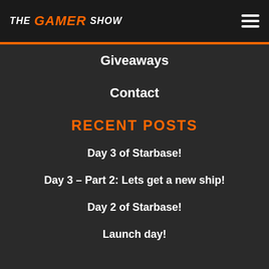THE GAMER SHOW
Giveaways
Contact
RECENT POSTS
Day 3 of Starbase!
Day 3 – Part 2: Lets get a new ship!
Day 2 of Starbase!
Launch day!